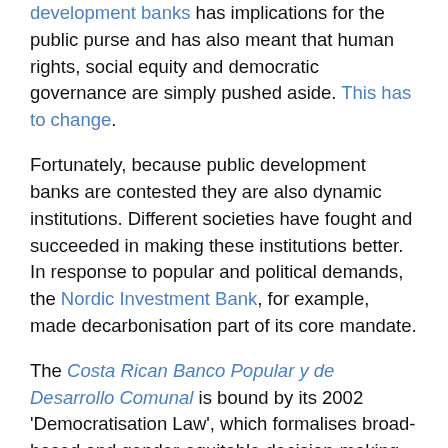development banks has implications for the public purse and has also meant that human rights, social equity and democratic governance are simply pushed aside. This has to change.
Fortunately, because public development banks are contested they are also dynamic institutions. Different societies have fought and succeeded in making these institutions better. In response to popular and political demands, the Nordic Investment Bank, for example, made decarbonisation part of its core mandate.
The Costa Rican Banco Popular y de Desarrollo Comunal is bound by its 2002 'Democratisation Law', which formalises broad-based and gender-equitable decision-making. Since the early 20th century the Bank of North Dakota has provided patient, long-term, publicly-supported financing to its affected community.
Furthermore, all three acted as Covid-19 financial 'first responders'. None of these banks are perfect, but they